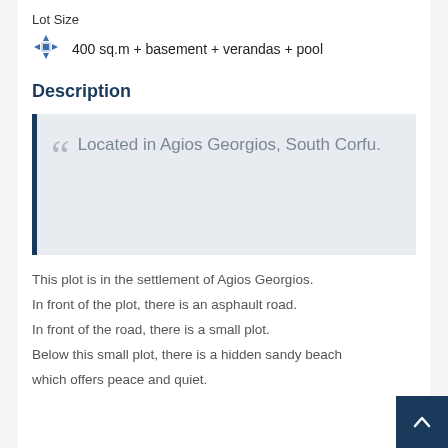Lot Size
400 sq.m + basement + verandas + pool
Description
Located in Agios Georgios, South Corfu.
This plot is in the settlement of Agios Georgios. In front of the plot, there is an asphault road. In front of the road, there is a small plot. Below this small plot, there is a hidden sandy beach which offers peace and quiet.